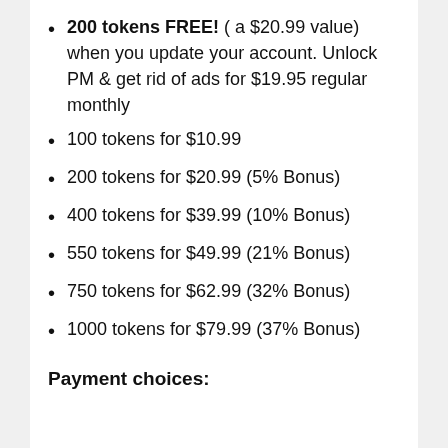200 tokens FREE! ( a $20.99 value) when you update your account. Unlock PM & get rid of ads for $19.95 regular monthly
100 tokens for $10.99
200 tokens for $20.99 (5% Bonus)
400 tokens for $39.99 (10% Bonus)
550 tokens for $49.99 (21% Bonus)
750 tokens for $62.99 (32% Bonus)
1000 tokens for $79.99 (37% Bonus)
Payment choices: